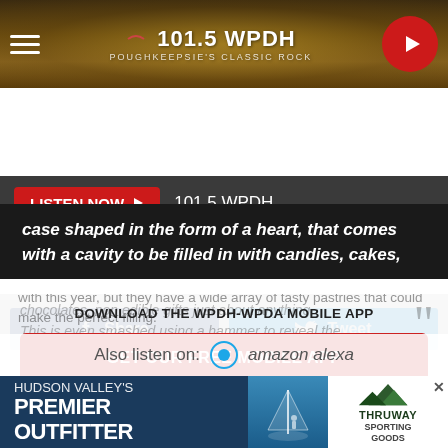[Figure (screenshot): 101.5 WPDH radio station website header with golden bokeh background, hamburger menu icon on left, station logo in center, red play button on right]
LISTEN NOW ▶  101.5 WPDH
[Figure (screenshot): Facebook Share button (blue) and Twitter Tweet button (cyan) side by side]
case shaped in the form of a heart, that comes with a cavity to be filled in with candies, cakes,
chocolates, non edible gifts just about anything. This is even smashed using a hammer to reveal the surprise inside just like a regular pinata cake.
DOWNLOAD THE WPDH-WPDA MOBILE APP
GET OUR FREE MOBILE APP
We're not sure what Los Hornitos is filling their Smashable Hearts up with this year, but they have a wide array of tasty pastries that could make the perfect filling.
Also listen on:  amazon alexa
[Figure (screenshot): Advertisement banner: Hudson Valley's Premier Outfitter (left, dark blue background) and Thruway Sporting Goods logo (right, white background)]